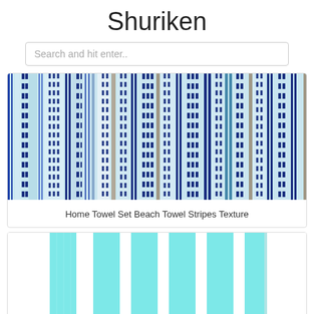Shuriken
Search and hit enter..
[Figure (photo): Beach towel with blue and teal vertical stripes and dotted stripe pattern]
Home Towel Set Beach Towel Stripes Texture
[Figure (photo): Aqua/cyan and white vertical striped beach towel]